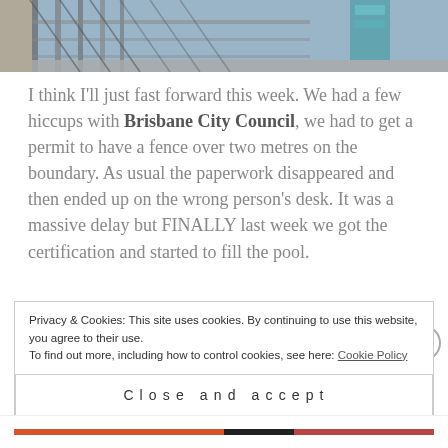[Figure (photo): Top portion of a metal fence/gate structure, partially cropped, outdoor setting]
I think I'll just fast forward this week. We had a few hiccups with Brisbane City Council, we had to get a permit to have a fence over two metres on the boundary. As usual the paperwork disappeared and then ended up on the wrong person's desk. It was a massive delay but FINALLY last week we got the certification and started to fill the pool.
Woo hoo its been so hot these past few weeks and
Privacy & Cookies: This site uses cookies. By continuing to use this website, you agree to their use.
To find out more, including how to control cookies, see here: Cookie Policy
Close and accept